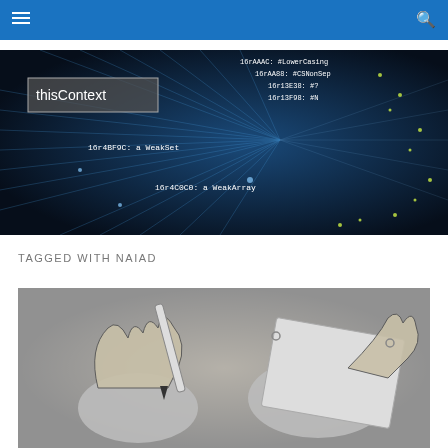thisContext — navigation bar with hamburger menu and search icon
[Figure (photo): Banner image showing a network visualization with blue light rays on dark background, with 'thisContext' label overlay and code text annotations: 16rAAAC: #LowerCasing, 16rAA88: #CSNonSep, 16r13E38: #?, 16r13F98: #N, 16r4BF9C: a WeakSet, 16r4C0C0: a WeakArray]
TAGGED WITH NAIAD
[Figure (illustration): M.C. Escher style drawing of two hands drawing each other with pen on paper, black and white stipple illustration]